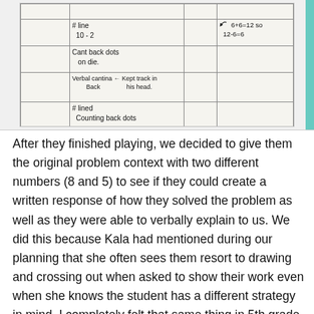[Figure (photo): A photograph of a handwritten student observation/recording sheet in a notebook grid. The sheet contains handwritten entries including: '# line 10-2', 'Cant back dots on die.', 'Verbal cantina Back ← Kept track in his head.', '# lined', 'Counting back dots'. On the right side of the grid: '6+6=12 so 12-6=6'.]
After they finished playing, we decided to give them the original problem context with two different numbers (8 and 5) to see if they could create a written response of how they solved the problem as well as they were able to verbally explain to us. We did this because Kala had mentioned during our planning that she often sees them resort to drawing and crossing out when asked to show their work even when she knows the student has a different strategy in mind. I completely felt that same thing in 5th grade as well!